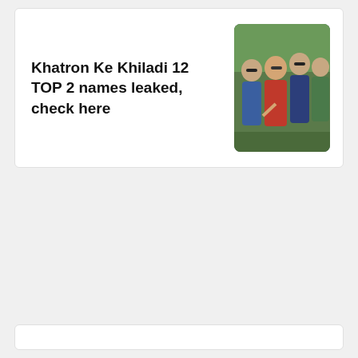Khatron Ke Khiladi 12 TOP 2 names leaked, check here
[Figure (photo): A group of people posing together, likely TV show contestants or celebrities, outdoors with greenery in the background.]